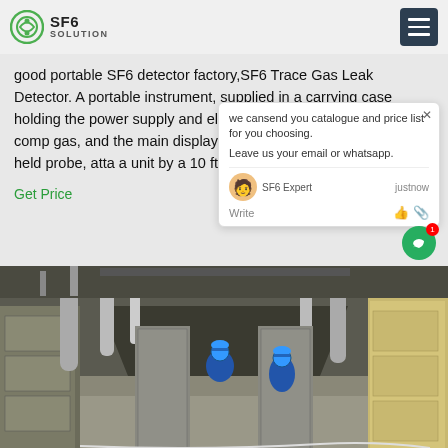SF6 SOLUTION
good portable SF6 detector factory,SF6 Trace Gas Leak Detector. A portable instrument, supplied in a carrying case holding the power supply and electronics,a small cylinder of comp gas, and the main display panel. Th mounted in a hand-held probe, atta a unit by a 10 ft (3.5 meter)umbilical c
Get Price
[Figure (photo): Two workers in blue hard hats and overalls walking through an industrial corridor with electrical switchgear cabinets and pipes overhead.]